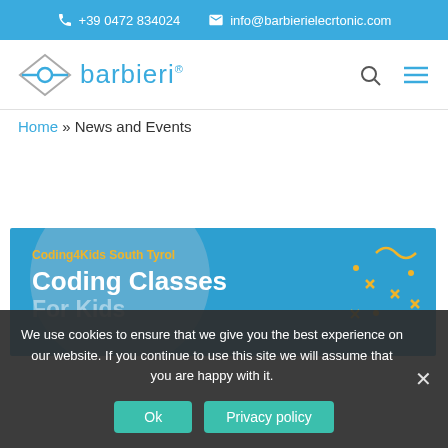+39 0472 834024   info@barbierielecrtonic.com
[Figure (logo): Barbieri electronic logo with diamond shape icon and blue text 'barbieri' with registered trademark symbol]
Home » News and Events
[Figure (illustration): Coding4Kids South Tyrol banner with text 'Coding Classes For Kids' in white bold font on blue background with yellow decorative elements]
We use cookies to ensure that we give you the best experience on our website. If you continue to use this site we will assume that you are happy with it.